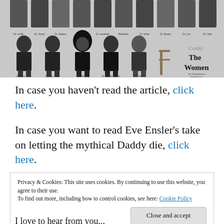[Figure (photo): Black and white photograph showing multiple women seated in chairs, related to 'Cosby: The Women – An Unwelcome Sisterhood' article cover image]
In case you haven't read the article, click here.
In case you want to read Eve Ensler's take on letting the mythical Daddy die, click here.
Privacy & Cookies: This site uses cookies. By continuing to use this website, you agree to their use.
To find out more, including how to control cookies, see here: Cookie Policy
[Close and accept]
I love to hear from you...